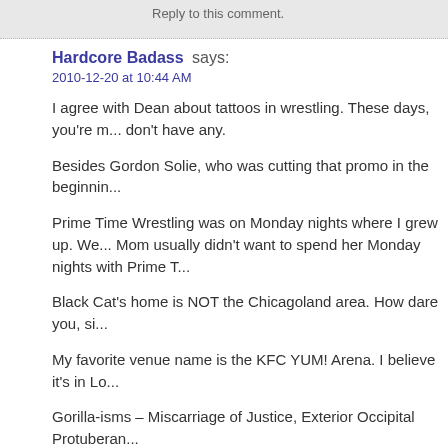Reply to this comment.
Hardcore Badass says:
2010-12-20 at 10:44 AM
I agree with Dean about tattoos in wrestling. These days, you're m... don't have any.
Besides Gordon Solie, who was cutting that promo in the beginnin...
Prime Time Wrestling was on Monday nights where I grew up. We... Mom usually didn't want to spend her Monday nights with Prime T...
Black Cat's home is NOT the Chicagoland area. How dare you, si...
My favorite venue name is the KFC YUM! Arena. I believe it's in Lo...
Gorilla-isms – Miscarriage of Justice, Exterior Occipital Protuberan...
Jook, you should know something about losing to a backslide 🙂
I love Princess Bride, I love Fesik, I love Andre the Giant, and now... impression.
I loved how Harley Race would bump. After being knocked down,...